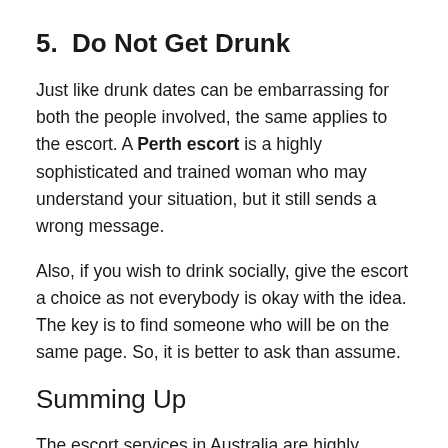5.    Do Not Get Drunk
Just like drunk dates can be embarrassing for both the people involved, the same applies to the escort. A Perth escort is a highly sophisticated and trained woman who may understand your situation, but it still sends a wrong message.
Also, if you wish to drink socially, give the escort a choice as not everybody is okay with the idea. The key is to find someone who will be on the same page. So, it is better to ask than assume.
Summing Up
The escort services in Australia are highly professional and ensure the most pleasurable time. This is only achieved,